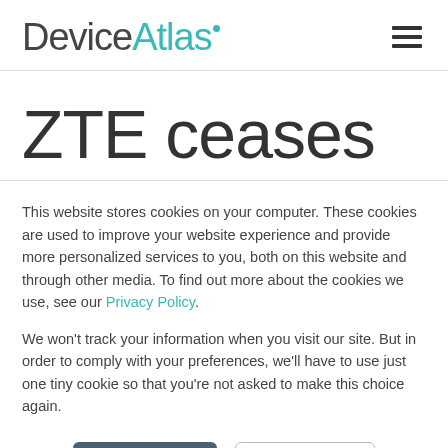DeviceAtlas
ZTE ceases
This website stores cookies on your computer. These cookies are used to improve your website experience and provide more personalized services to you, both on this website and through other media. To find out more about the cookies we use, see our Privacy Policy.
We won't track your information when you visit our site. But in order to comply with your preferences, we'll have to use just one tiny cookie so that you're not asked to make this choice again.